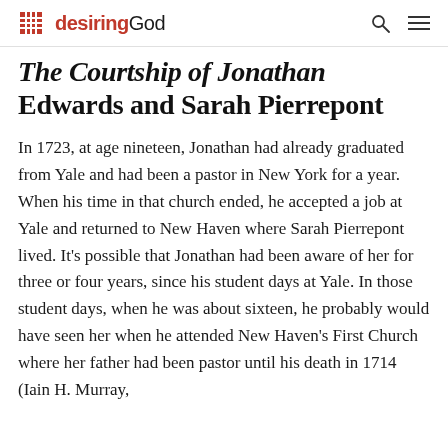desiringGod
The Courtship of Jonathan Edwards and Sarah Pierrepont
In 1723, at age nineteen, Jonathan had already graduated from Yale and had been a pastor in New York for a year. When his time in that church ended, he accepted a job at Yale and returned to New Haven where Sarah Pierrepont lived. It's possible that Jonathan had been aware of her for three or four years, since his student days at Yale. In those student days, when he was about sixteen, he probably would have seen her when he attended New Haven's First Church where her father had been pastor until his death in 1714 (Iain H. Murray,